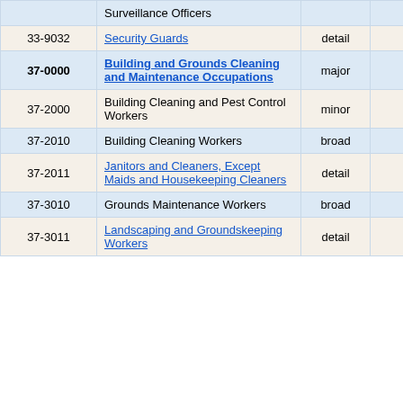| Code | Occupation | Level | Num | Pct |
| --- | --- | --- | --- | --- |
|  | Surveillance Officers |  |  |  |
| 33-9032 | Security Guards | detail | 190 | 11.4 |
| 37-0000 | Building and Grounds Cleaning and Maintenance Occupations | major | 1,060 | 7.7 |
| 37-2000 | Building Cleaning and Pest Control Workers | minor | 890 | 7.5 |
| 37-2010 | Building Cleaning Workers | broad | 890 | 7.5 |
| 37-2011 | Janitors and Cleaners, Except Maids and Housekeeping Cleaners | detail | 870 | 7.6 |
| 37-3010 | Grounds Maintenance Workers | broad | 160 | 27.2 |
| 37-3011 | Landscaping and Groundskeeping Workers | detail | 150 | 28.3 |